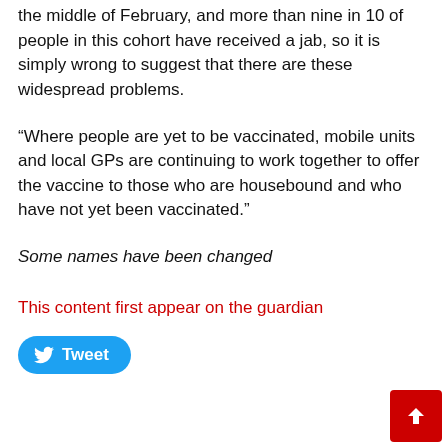the middle of February, and more than nine in 10 of people in this cohort have received a jab, so it is simply wrong to suggest that there are these widespread problems.
“Where people are yet to be vaccinated, mobile units and local GPs are continuing to work together to offer the vaccine to those who are housebound and who have not yet been vaccinated.”
Some names have been changed
This content first appear on the guardian
[Figure (other): Tweet button (Twitter/X share button in blue)]
[Figure (other): Scroll to top button (red square with up arrow)]